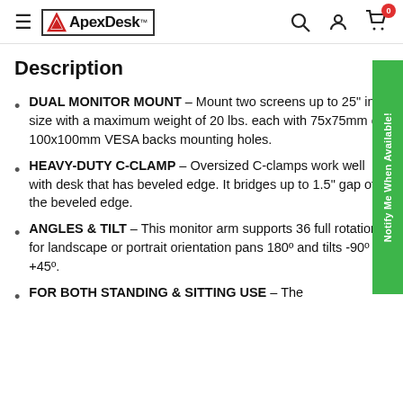ApexDesk™ — navigation header with hamburger menu, search, account, and cart icons
Description
DUAL MONITOR MOUNT – Mount two screens up to 25" in size with a maximum weight of 20 lbs. each with 75x75mm or 100x100mm VESA backs mounting holes.
HEAVY-DUTY C-CLAMP – Oversized C-clamps work well with desk that has beveled edge. It bridges up to 1.5" gap of the beveled edge.
ANGLES & TILT – This monitor arm supports 36 full rotation for landscape or portrait orientation pans 180º and tilts -90º to +45º.
FOR BOTH STANDING & SITTING USE – The